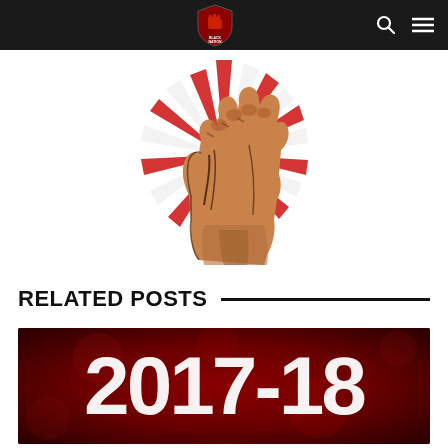Black Nation site header with logo, search icon, and menu icon
[Figure (illustration): Raised fist illustration with red sunburst rays radiating behind it on a white background — a symbol of solidarity and resistance]
RELATED POSTS
[Figure (photo): Dark red/crimson banner image with large white text showing '2017-18']